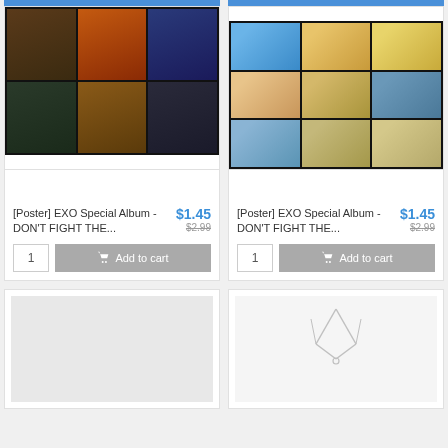[Figure (photo): EXO Special Album Don't Fight The Feeling poster collage - 6 panels dark dramatic photoshoot]
[Poster] EXO Special Album - DON'T FIGHT THE...
$1.45
$2.99
[Figure (photo): EXO Special Album Don't Fight The Feeling poster - 9 panel grid with group member individual photos]
[Poster] EXO Special Album - DON'T FIGHT THE...
$1.45
$2.99
[Figure (photo): Product image placeholder - light gray background]
[Figure (photo): Silver necklace on white/light gray background]